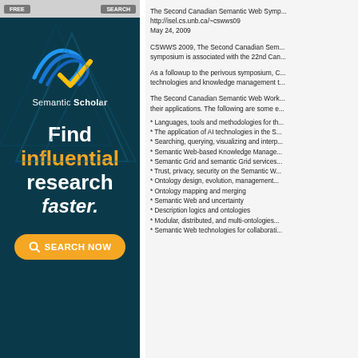[Figure (logo): Semantic Scholar advertisement banner with logo, tagline 'Find influential research faster.' and Search Now button]
The Second Canadian Semantic Web Symposium
http://isel.cs.unb.ca/~cswws09
May 24, 2009
CSWWS 2009, The Second Canadian Semantic Web Symposium is associated with the 22nd Can...
As a followup to the perivous symposium, CSWWS focuses on semantic web technologies and knowledge management t...
The Second Canadian Semantic Web Workshop invites papers on Semantic Web topics and their applications. The following are some e...
* Languages, tools and methodologies for th...
* The application of AI technologies in the S...
* Searching, querying, visualizing and interp...
* Semantic Web-based Knowledge Manage...
* Semantic Grid and semantic Grid services...
* Trust, privacy, security on the Semantic W...
* Ontology design, evolution, management...
* Ontology mapping and merging
* Semantic Web and uncertainty
* Description logics and ontologies
* Modular, distributed, and multi-ontologies...
* Semantic Web technologies for collaborati...